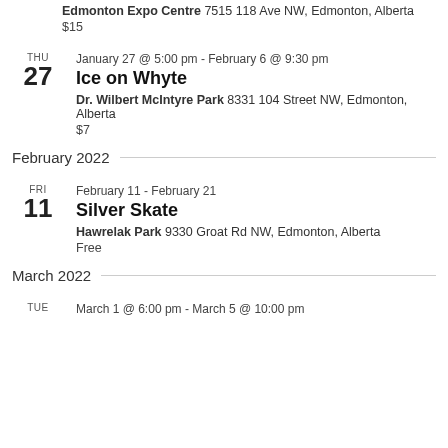Edmonton Expo Centre 7515 118 Ave NW, Edmonton, Alberta
$15
January 27 @ 5:00 pm - February 6 @ 9:30 pm
Ice on Whyte
Dr. Wilbert McIntyre Park 8331 104 Street NW, Edmonton, Alberta
$7
February 2022
February 11 - February 21
Silver Skate
Hawrelak Park 9330 Groat Rd NW, Edmonton, Alberta
Free
March 2022
March 1 @ 6:00 pm - March 5 @ 10:00 pm